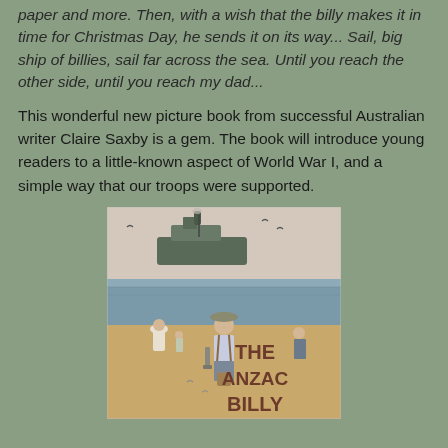paper and more. Then, with a wish that the billy makes it in time for Christmas Day, he sends it on its way... Sail, big ship of billies, sail far across the sea. Until you reach the other side, until you reach my dad...
This wonderful new picture book from successful Australian writer Claire Saxby is a gem. The book will introduce young readers to a little-known aspect of World War I, and a simple way that our troops were supported.
[Figure (illustration): Book cover of 'The Anzac Billy' showing a young boy in a wide-brimmed hat holding a bucket, standing on a beach with a ship in the background and other figures around him. The title 'THE ANZAC BILLY' is displayed in large brown letters on the right side of the cover.]